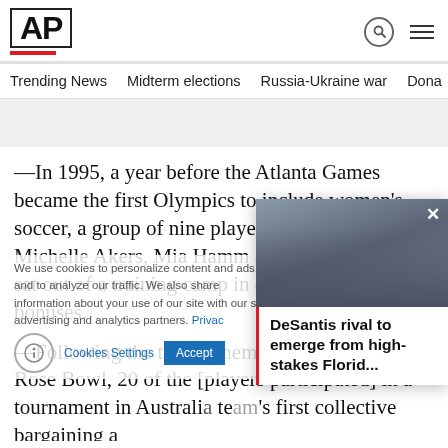AP
Trending News  Midterm elections  Russia-Ukraine war  Dona
—In 1995, a year before the Atlanta Games became the first Olympics to include women's soccer, a group of nine players, including Scurry, Michelle Akers, Mia Hamm and Kristine Lilly, sat out of a training camp in dispute over bonuses.
—Following the team's memorable victory at the Rose Bowl, 20 of the [players participated] in a tournament in Australia [as part of the] team's first collective bargaining a[greement].
[Figure (screenshot): Cookie consent overlay with accessibility icon, 'Cookies Settings' button and 'Accept' button]
[Figure (screenshot): News popup showing a photo of politicians with text 'DeSantis rival to emerge from high-stakes Florid...' and a red vertical bar and X close button]